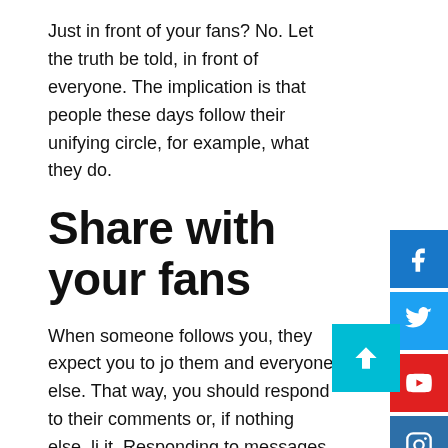Just in front of your fans? No. Let the truth be told, in front of everyone. The implication is that people these days follow their unifying circle, for example, what they do.
Share with your fans
When someone follows you, they expect you to join them and everyone else. That way, you should respond to their comments or, if nothing else, like it. Responding to messages at the individual level is also important. It annoys your fans when they charge you for a certain time; however, you need a good opportunity to draw close to them.
In line with these lines, in most cases, it is important you must meet dual. You can also decide whether to